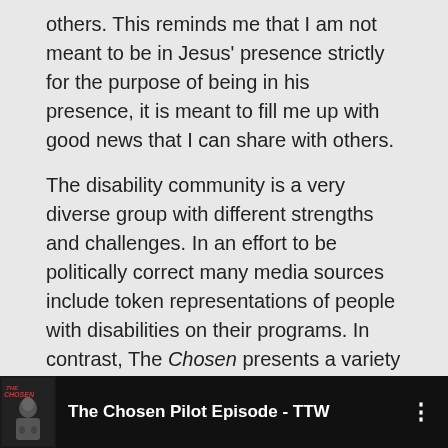others. This reminds me that I am not meant to be in Jesus' presence strictly for the purpose of being in his presence, it is meant to fill me up with good news that I can share with others.
The disability community is a very diverse group with different strengths and challenges. In an effort to be politically correct many media sources include token representations of people with disabilities on their programs. In contrast, The Chosen presents a variety of characters with a wide range of abilities and disabilities. An upcoming blog post on this Disability and Faith Forum, will consider some of the personal and communal impacts of portraying positive theology of disability through this excellent series.
[Figure (screenshot): Video player bar showing 'The Chosen Pilot Episode - TTW' with a dark thumbnail image of a person on the left and a three-dot menu icon on the right, on a black background.]